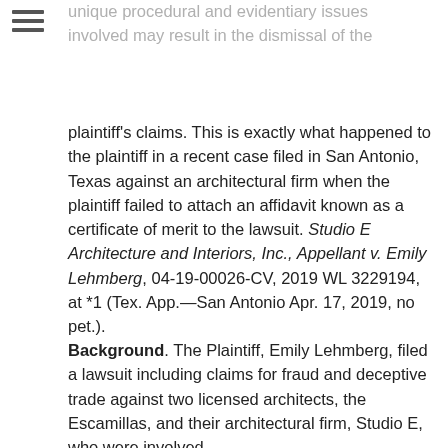unique procedural and evidentiary issues involved may result in the dismissal of the plaintiff's claims. This is exactly what happened to the plaintiff in a recent case filed in San Antonio, Texas against an architectural firm when the plaintiff failed to attach an affidavit known as a certificate of merit to the lawsuit. Studio E Architecture and Interiors, Inc., Appellant v. Emily Lehmberg, 04-19-00026-CV, 2019 WL 3229194, at *1 (Tex. App.—San Antonio Apr. 17, 2019, no pet.).
Background. The Plaintiff, Emily Lehmberg, filed a lawsuit including claims for fraud and deceptive trade against two licensed architects, the Escamillas, and their architectural firm, Studio E, who were involved